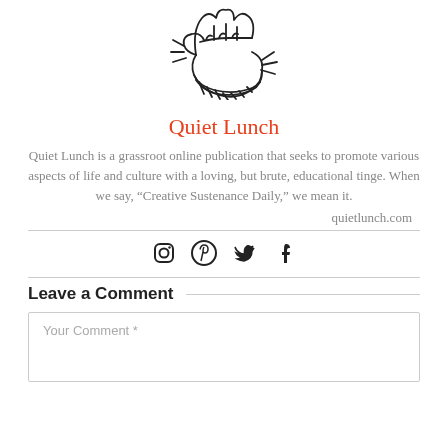[Figure (illustration): Hand-drawn sketch of a fist wearing a striped cuff, facing downward]
Quiet Lunch
Quiet Lunch is a grassroot online publication that seeks to promote various aspects of life and culture with a loving, but brute, educational tinge. When we say, “Creative Sustenance Daily,” we mean it.
quietlunch.com
[Figure (infographic): Social media icons: Instagram, Pinterest, Twitter, Facebook]
Leave a Comment
Your Comment *